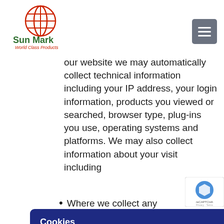[Figure (logo): Sun Mark World Class Products logo - red globe icon with green text]
our website we may automatically collect technical information including your IP address, your login information, products you viewed or searched, browser type, plug-ins you use, operating systems and platforms. We may also collect information about your visit including
ors, eraction ay from ntact cion data K and ur
Cookies
To make this site work properly, we sometimes place small data files called cookies on your device. Most big websites do this too.
Accept
Change Settings
Where we collect any sensitive data, we will take